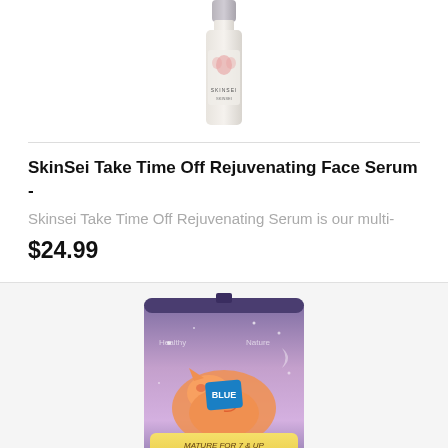[Figure (photo): SkinSei Take Time Off Rejuvenating Face Serum bottle - partially visible at top of page]
SkinSei Take Time Off Rejuvenating Face Serum -
Skinsei Take Time Off Rejuvenating Serum is our multi-
$24.99
[Figure (photo): Blue Buffalo Healthy Aging cat food bag with purple packaging showing a cat and 'Healthy Aging with LifeSource Bits' text]